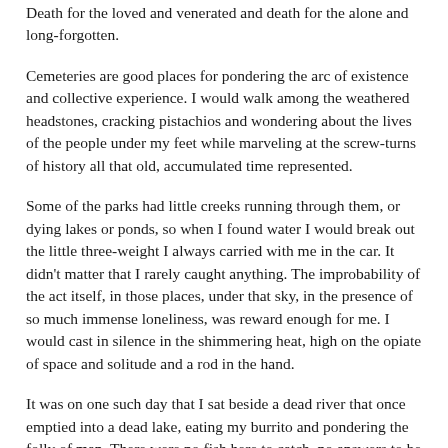Death for the loved and venerated and death for the alone and long-forgotten.
Cemeteries are good places for pondering the arc of existence and collective experience. I would walk among the weathered headstones, cracking pistachios and wondering about the lives of the people under my feet while marveling at the screw-turns of history all that old, accumulated time represented.
Some of the parks had little creeks running through them, or dying lakes or ponds, so when I found water I would break out the little three-weight I always carried with me in the car. It didn't matter that I rarely caught anything. The improbability of the act itself, in those places, under that sky, in the presence of so much immense loneliness, was reward enough for me. I would cast in silence in the shimmering heat, high on the opiate of space and solitude and a rod in the hand.
It was on one such day that I sat beside a dead river that once emptied into a dead lake, eating my burrito and pondering the folly of man. There were no fish here to catch, no answers to be found, no balm for the demons. Forces inexorable and mysterious